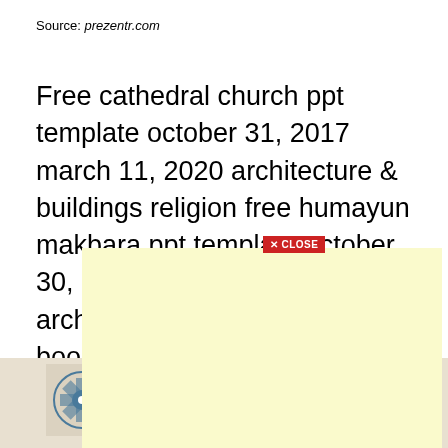Source: prezentr.com
Free cathedral church ppt template october 31, 2017 march 11, 2020 architecture & buildings religion free humayun makbara ppt template october 30, 2017 march 11, 2020 architecture & bu[ildings] [h]oly book marc[h] religi[on] nove[mber] [archite]ture & bu[ildings]
[Figure (screenshot): Yellow semi-transparent overlay popup with a red CLOSE button containing an X icon, overlaying the main text content]
[Figure (illustration): Bottom strip showing partial decorative Islamic geometric tile ornaments on left and right sides with beige/tan background]